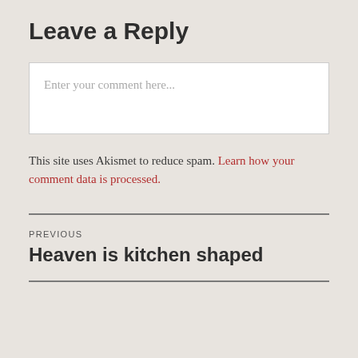Leave a Reply
Enter your comment here...
This site uses Akismet to reduce spam. Learn how your comment data is processed.
PREVIOUS
Heaven is kitchen shaped